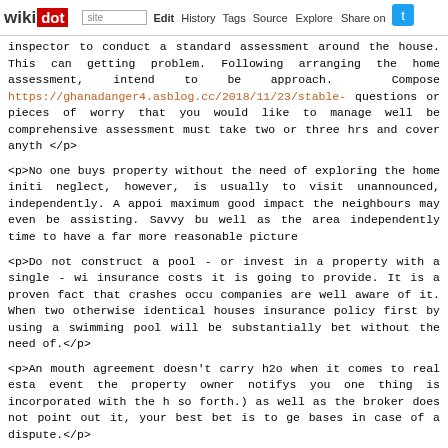wikidot | site Edit History Tags Source Explore Share on [twitter]
inspector to conduct a standard assessment around the house. This can getting problem. Following arranging the home assessment, intend to be approach. Compose https://ghanadanger4.asblog.cc/2018/11/23/stable- questions or pieces of worry that you would like to manage well be comprehensive assessment must take two or three hrs and cover anyth </p>
<p>No one buys property without the need of exploring the home initi neglect, however, is usually to visit unannounced, independently. A appoi maximum good impact the neighbours may even be assisting. Savvy bu well as the area independently time to have a far more reasonable picture
<p>Do not construct a pool - or invest in a property with a single - wi insurance costs it is going to provide. It is a proven fact that crashes occu companies are well aware of it. When two otherwise identical houses insurance policy first by using a swimming pool will be substantially bet without the need of.</p>
<p>An mouth agreement doesn't carry h2o when it comes to real esta event the property owner notifys you one thing is incorporated with the h so forth.) as well as the broker does not point out it, your best bet is to ge bases in case of a dispute.</p>
<p>Knowing precisely what you can invest, start searching for a home to use suggestions from friends, perform some interviews, and locate some seems to be on the very same page since you are.</p>
<p>Before beginning to look for getaway residence real estate, p
https://zephyrwillow2.blogfa.cc/2018/11/23/answering-all-your-questions-o